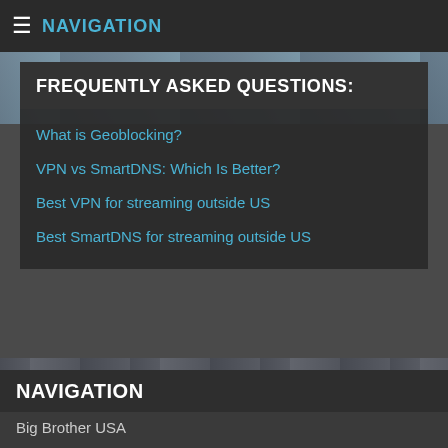≡ NAVIGATION
FREQUENTLY ASKED QUESTIONS:
What is Geoblocking?
VPN vs SmartDNS: Which Is Better?
Best VPN for streaming outside US
Best SmartDNS for streaming outside US
[Figure (photo): Street-level city photo with graffiti reading OKUPA Y RESISTE]
NAVIGATION
Big Brother USA
Comedy Central
AMC TV
Disney Channel
Encore
VH1
Aljazeera America